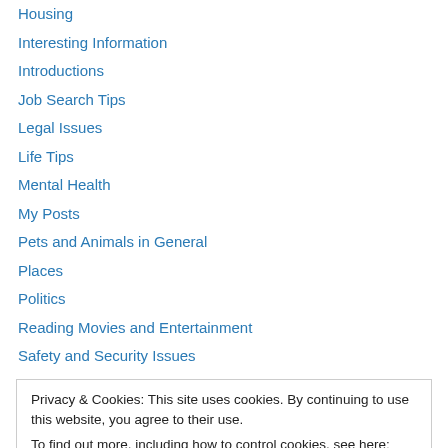Housing
Interesting Information
Introductions
Job Search Tips
Legal Issues
Life Tips
Mental Health
My Posts
Pets and Animals in General
Places
Politics
Reading Movies and Entertainment
Safety and Security Issues
Privacy & Cookies: This site uses cookies. By continuing to use this website, you agree to their use.
To find out more, including how to control cookies, see here: Cookie Policy
Technology